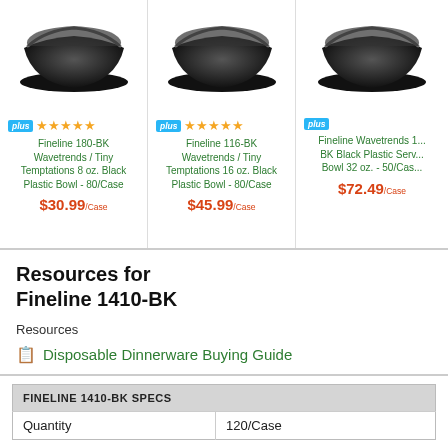[Figure (photo): Three black plastic bowls (product images) shown side by side in product cards]
Fineline 180-BK Wavetrends / Tiny Temptations 8 oz. Black Plastic Bowl - 80/Case $30.99/Case
Fineline 116-BK Wavetrends / Tiny Temptations 16 oz. Black Plastic Bowl - 80/Case $45.99/Case
Fineline Wavetrends 1... BK Black Plastic Serv... Bowl 32 oz. - 50/Cas... $72.49/Case
Resources for Fineline 1410-BK
Resources
Disposable Dinnerware Buying Guide
| FINELINE 1410-BK SPECS |  |
| --- | --- |
| Quantity | 120/Case |